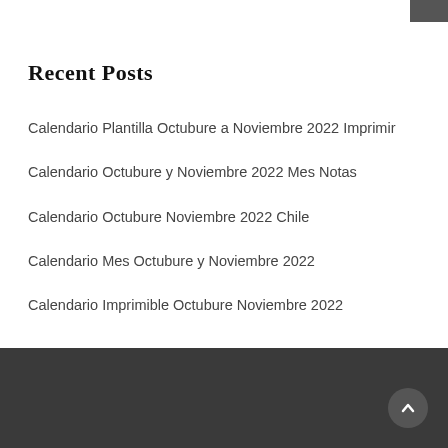Recent Posts
Calendario Plantilla Octubure a Noviembre 2022 Imprimir
Calendario Octubure y Noviembre 2022 Mes Notas
Calendario Octubure Noviembre 2022 Chile
Calendario Mes Octubure y Noviembre 2022
Calendario Imprimible Octubure Noviembre 2022